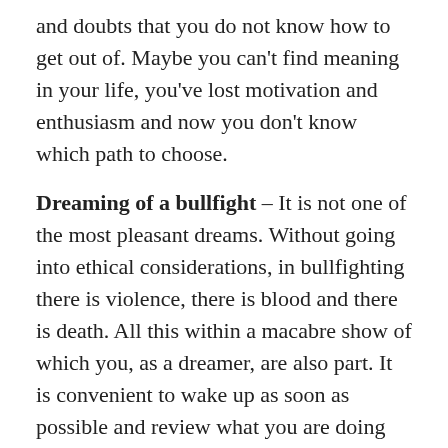and doubts that you do not know how to get out of. Maybe you can't find meaning in your life, you've lost motivation and enthusiasm and now you don't know which path to choose.
Dreaming of a bullfight – It is not one of the most pleasant dreams. Without going into ethical considerations, in bullfighting there is violence, there is blood and there is death. All this within a macabre show of which you, as a dreamer, are also part. It is convenient to wake up as soon as possible and review what you are doing against your values.
Those moments of indecision, when you don't feel strong enough to make a firm decision or to regain control of your life. In your dream you talk to the bull to see if he